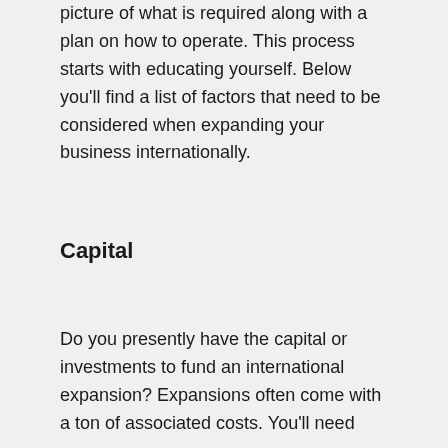picture of what is required along with a plan on how to operate. This process starts with educating yourself. Below you'll find a list of factors that need to be considered when expanding your business internationally.
Capital
Do you presently have the capital or investments to fund an international expansion? Expansions often come with a ton of associated costs. You'll need